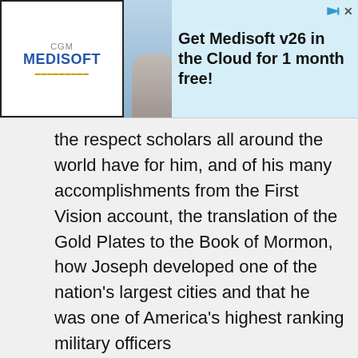[Figure (other): CGM Medisoft advertisement banner with logo, person photo, and text 'Get Medisoft v26 in the Cloud for 1 month free!']
the respect scholars all around the world have for him, and of his many accomplishments from the First Vision account, the translation of the Gold Plates to the Book of Mormon, how Joseph developed one of the nation's largest cities and that he was one of America's highest ranking military officers
We had prepared so these events could be repeated for the almost one third of Joseph and Emma's descendants living in Australia. On a beautiful Saturday afternoon, Matthew Brown who came with us under his own expense shared his in-depth research. He masterfully illustrated the side by side evidence of the flimsy accusations which were greatly